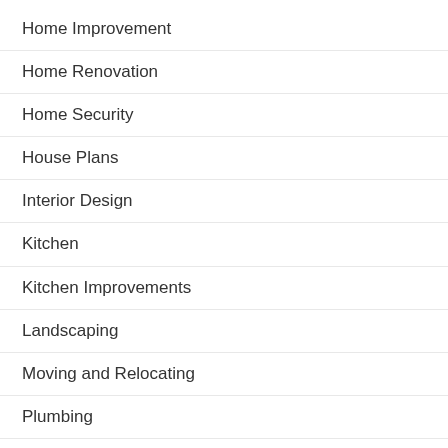Home Improvement
Home Renovation
Home Security
House Plans
Interior Design
Kitchen
Kitchen Improvements
Landscaping
Moving and Relocating
Plumbing
Pool Maintenance and Cleaning
Remodeling
Roofing